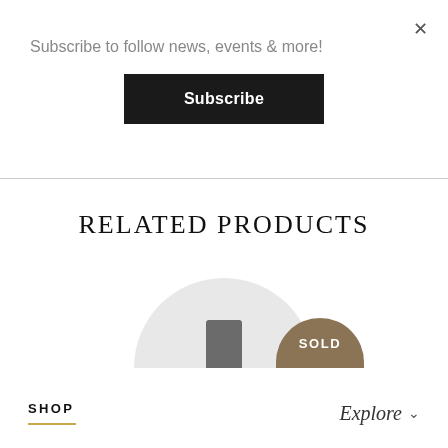×
Subscribe to follow news, events & more!
Subscribe
RELATED PRODUCTS
[Figure (photo): A small dark gray candle or cylindrical object displayed on a light gray arched background, with a taupe/brown semicircular 'SOLD' badge overlay.]
SHOP
Explore